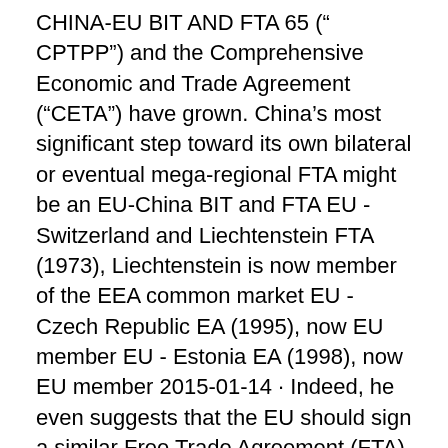CHINA-EU BIT AND FTA 65 (“ CPTPP”) and the Comprehensive Economic and Trade Agreement (“CETA”)​ have grown. China’s most significant step toward its own bilateral or eventual mega-regional FTA might be an EU-China BIT and FTA EU - Switzerland and Liechtenstein FTA (1973), Liechtenstein is now member of the EEA common market EU - Czech Republic EA (1995), now EU member EU - Estonia EA (1998), now EU member 2015-01-14 · Indeed, he even suggests that the EU should sign a similar Free Trade Agreement (FTA) with China along the lines of the EU-India or EU-US agreements currently being negotiated. To get a response to this suggestion, we put JJ’s comment to Joerg Wuttke , President of the European Chamber of Commerce in China. 2020-12-30 · EU, China sign investment deal 7 years in the making